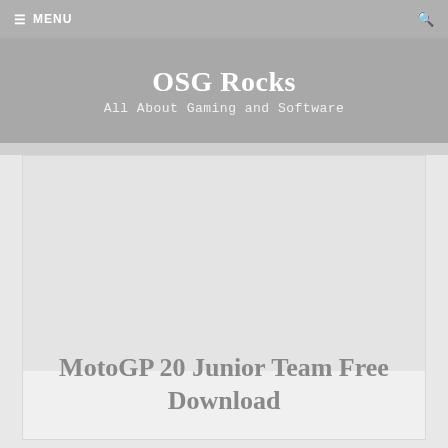☰ MENU
OSG Rocks
All About Gaming and Software
[Figure (photo): Placeholder image area for MotoGP 20 Junior Team article, light gray rectangle]
MotoGP 20 Junior Team Free Download